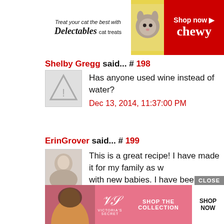[Figure (other): Chewy advertisement banner: Treat your cat the best with Delectables cat treats. Shop now Chewy. Features cat image with yellow/red background.]
Shelby Gregg said... # 198
Has anyone used wine instead of water?
Dec 13, 2014, 11:37:00 PM
ErinGrover said... # 199
This is a great recipe! I have made it for my family as w with new babies. I have been using the elk roasts that m and it is just right! I have just finished making a triple re for no think meals! Thank you for sharing a recipe for ro
Jan 14, 2015, 11:12:00 AM
Hill Family said... # 200
Do you drain the mushrooms?
[Figure (other): Victoria's Secret advertisement: Shop the Collection. Shop Now button.]